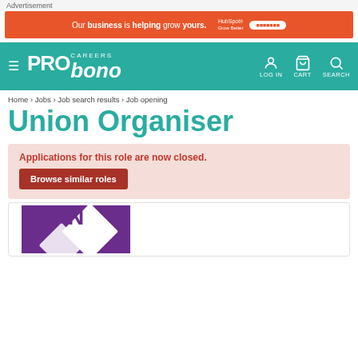Advertisement
[Figure (infographic): Orange HubSpot advertisement banner: 'Our business is helping grow yours.']
[Figure (logo): Pro Bono Careers navigation bar with teal background, hamburger menu, logo, LOG IN, CART, SEARCH icons]
Home › Jobs › Job search results › Job opening
Union Organiser
Applications for this role are now closed.
Browse similar roles
[Figure (logo): Purple logo card with diamond shape containing letter N]